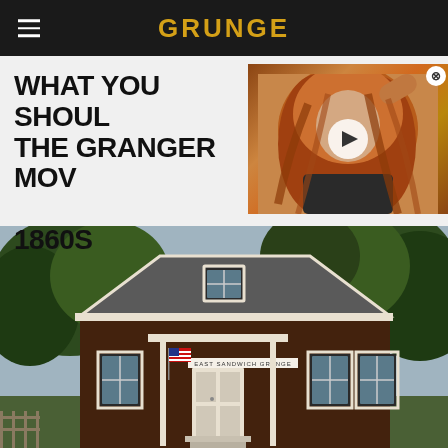GRUNGE
WHAT YOU SHOULD KNOW ABOUT THE GRANGER MOVEMENT OF THE 1860S
[Figure (photo): Video thumbnail showing a woman with long curly red/auburn hair with a play button overlay and close button]
[Figure (photo): Photograph of the East Sandwich Grange building, a dark brown shingled historic structure with white trim windows, a white front door, American flag, and trees in the background]